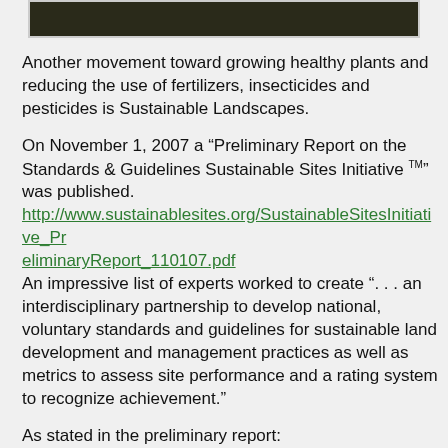[Figure (photo): Dark image strip at top of page showing landscape or plant material]
Another movement toward growing healthy plants and reducing the use of fertilizers, insecticides and pesticides is Sustainable Landscapes.
On November 1, 2007 a “Preliminary Report on the Standards & Guidelines Sustainable Sites Initiative TM” was published. http://www.sustainablesites.org/SustainableSitesInitiative_PreliminaryReport_110107.pdf An impressive list of experts worked to create “. . . an interdisciplinary partnership to develop national, voluntary standards and guidelines for sustainable land development and management practices as well as metrics to assess site performance and a rating system to recognize achievement.”
As stated in the preliminary report:
“Purpose